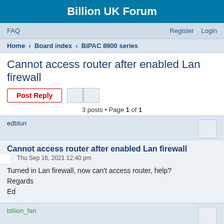Billion UK Forum
FAQ    Register  Login
Home › Board index › BiPAC 8900 series
Cannot access router after enabled Lan firewall
Post Reply
3 posts • Page 1 of 1
edblun
Cannot access router after enabled Lan firewall
Thu Sep 16, 2021 12:40 pm
Turned in Lan firewall, now can't access router, help?
Regards
Ed
billion_fan
Re: Cannot access router after enabled Lan firewall